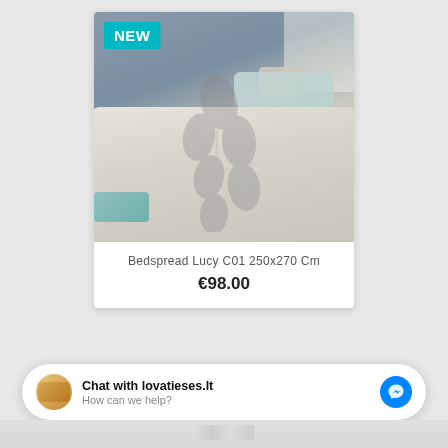[Figure (photo): Product photo of a bedspread (Lucy C01) in a styled bedroom scene. The bedspread is light grey with a subtle leaf pattern. A teal accent pillow is visible. A 'NEW' badge appears in the top-left corner of the image.]
Bedspread Lucy C01 250x270 Cm
€98.00
Chat with lovatieses.lt
How can we help?